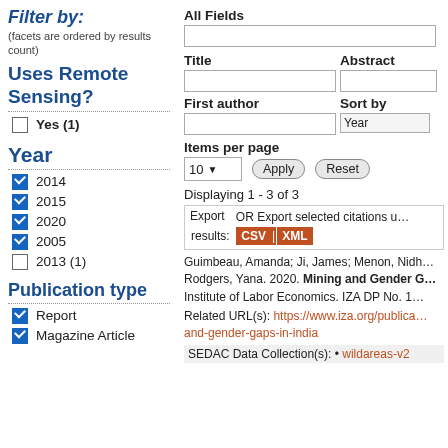Filter by:
(facets are ordered by results count)
All Fields
Title
Abstract
First author
Sort by
Items per page
Uses Remote Sensing?
Yes (1)
Year
2014
2015
2020
2005
2013 (1)
Publication type
Report
Magazine Article
Displaying 1 - 3 of 3
Export  OR Export selected citations u...  results: CSV XML
Guimbeau, Amanda; Ji, James; Menon, Nidh... Rodgers, Yana. 2020. Mining and Gender G... Institute of Labor Economics. IZA DP No. 1...
Related URL(s): https://www.iza.org/publica... and-gender-gaps-in-india
SEDAC Data Collection(s): • wildareas-v2